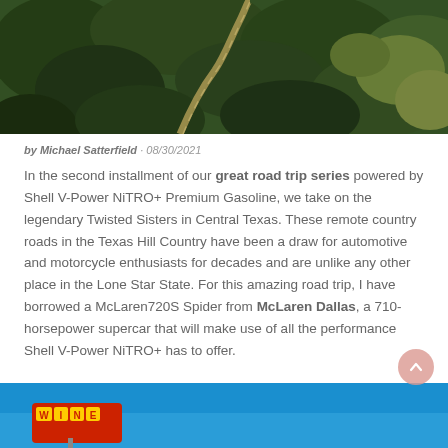[Figure (photo): Aerial view of a winding road through dense green forest in Texas Hill Country]
by Michael Satterfield · 08/30/2021
In the second installment of our great road trip series powered by Shell V-Power NiTRO+ Premium Gasoline, we take on the legendary Twisted Sisters in Central Texas. These remote country roads in the Texas Hill Country have been a draw for automotive and motorcycle enthusiasts for decades and are unlike any other place in the Lone Star State. For this amazing road trip, I have borrowed a McLaren720S Spider from McLaren Dallas, a 710-horsepower supercar that will make use of all the performance Shell V-Power NiTRO+ has to offer.
[Figure (photo): Bottom portion of a photo showing a colorful vintage sign against a blue sky]